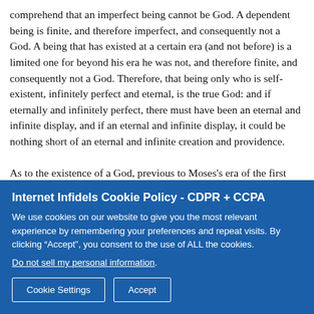comprehend that an imperfect being cannot be God. A dependent being is finite, and therefore imperfect, and consequently not a God. A being that has existed at a certain era (and not before) is a limited one for beyond his era he was not, and therefore finite, and consequently not a God. Therefore, that being only who is self-existent, infinitely perfect and eternal, is the true God: and if eternally and infinitely perfect, there must have been an eternal and infinite display, and if an eternal and infinite display, it could be nothing short of an eternal and infinite creation and providence.
As to the existence of a God, previous to Moses's era of the first day's work, he does not inform us. The first notice he gives us of a God was of his laborious working by the day, a theory of creation (as I should think) better calculated for the earth th...
Internet Infidels Cookie Policy - CDPR + CCPA
We use cookies on our website to give you the most relevant experience by remembering your preferences and repeat visits. By clicking “Accept”, you consent to the use of ALL the cookies.
Do not sell my personal information.